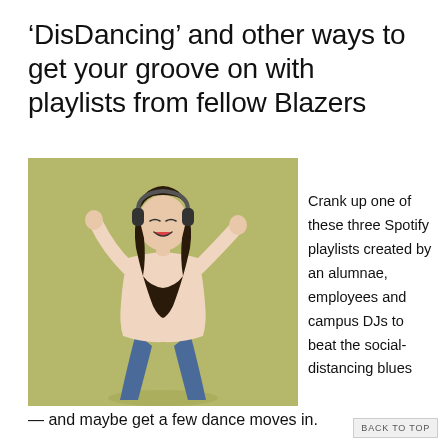'DisDancing' and other ways to get your groove on with playlists from fellow Blazers
[Figure (photo): Young woman with dark hair dancing joyfully while wearing headphones over a khaki/olive background, wearing a light pink top and blue jeans with arms raised]
Crank up one of these three Spotify playlists created by an alumnae, employees and campus DJs to beat the social-distancing blues — and maybe get a few dance moves in.
BACK TO TOP